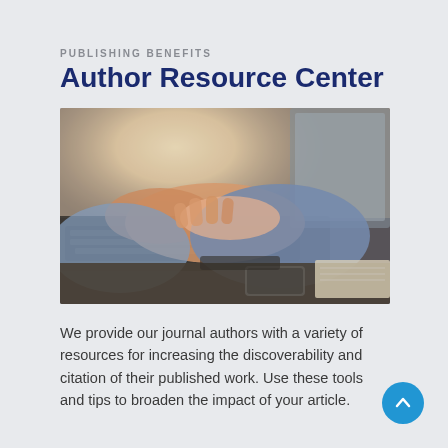PUBLISHING BENEFITS
Author Resource Center
[Figure (photo): Close-up of a person in a blue knit sweater typing on a laptop keyboard, with a smartphone and notebook visible on the dark desk surface. Bright light in background.]
We provide our journal authors with a variety of resources for increasing the discoverability and citation of their published work. Use these tools and tips to broaden the impact of your article.